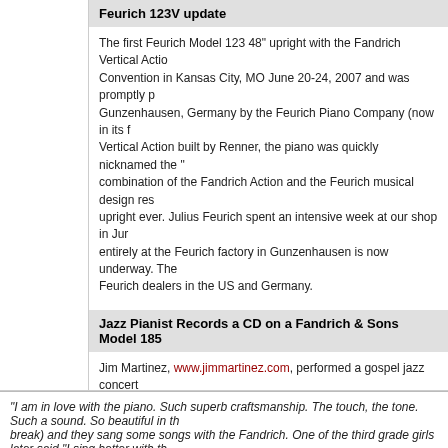Feurich 123V update
The first Feurich Model 123 48" upright with the Fandrich Vertical Action was shown at the Music Teachers National Association Convention in Kansas City, MO June 20-24, 2007 and was promptly purchased. The piano is manufactured entirely at Feurich's factory in Gunzenhausen, Germany by the Feurich Piano Company (now in its fifth generation). With the Fandrich Vertical Action built by Renner, the piano was quickly nicknamed the "Dream Upright" because the combination of the Fandrich Action and the Feurich musical design resulted in the most pianistic and beautiful upright ever. Julius Feurich spent an intensive week at our shop in June, and production of the 123V built entirely at the Feurich factory in Gunzenhausen is now underway. The 123V will be made available through Feurich dealers in the US and Germany.
Jazz Pianist Records a CD on a Fandrich & Sons Model 185
Jim Martinez, www.jimmartinez.com, performed a gospel jazz concert on the Fandrich & Sons Model 185 at our convention in Sacramento. He liked it so much he used it for a CD recording session the following week. One of his numerous comments praising the piano, "This piano is fant...
Larry Fuller
Performed on the Fandrich & Sons Model 215 at the Pacific Northwest... WA. Larry's comment during the concert: "This is the fourth time I've p... Seattle Art Museum in January. It's a great pleasure to play on these p... at www.larryfullerjazz.com
"I am in love with the piano. Such superb craftsmanship. The touch, the tone. Such a sound. So beautiful in th... break) and they sang some songs with the Fandrich. One of the third grade girls later said,"I sing better with th... knew that would happen. Bertschi kids are going to have even better ears.

Thank you so much for your devotion to making such fine instruments. It is everything I had hoped for, and mo...
-- Jerry
Copyright 1997-2022 Fandrich & Sons. All rights...